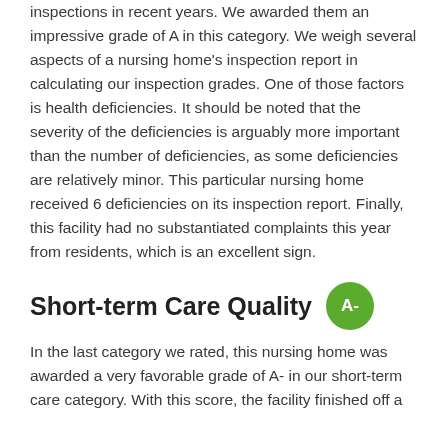inspections in recent years. We awarded them an impressive grade of A in this category. We weigh several aspects of a nursing home's inspection report in calculating our inspection grades. One of those factors is health deficiencies. It should be noted that the severity of the deficiencies is arguably more important than the number of deficiencies, as some deficiencies are relatively minor. This particular nursing home received 6 deficiencies on its inspection report. Finally, this facility had no substantiated complaints this year from residents, which is an excellent sign.
Short-term Care Quality A-
In the last category we rated, this nursing home was awarded a very favorable grade of A- in our short-term care category. With this score, the facility finished off a